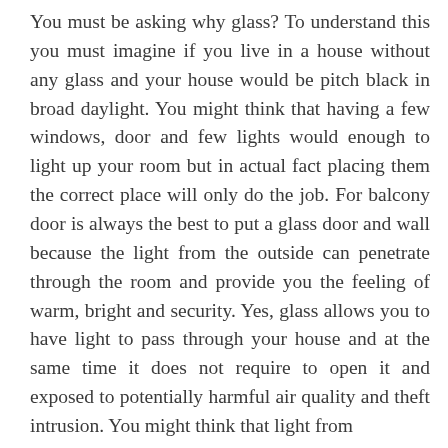You must be asking why glass? To understand this you must imagine if you live in a house without any glass and your house would be pitch black in broad daylight. You might think that having a few windows, door and few lights would enough to light up your room but in actual fact placing them the correct place will only do the job. For balcony door is always the best to put a glass door and wall because the light from the outside can penetrate through the room and provide you the feeling of warm, bright and security. Yes, glass allows you to have light to pass through your house and at the same time it does not require to open it and exposed to potentially harmful air quality and theft intrusion. You might think that light from